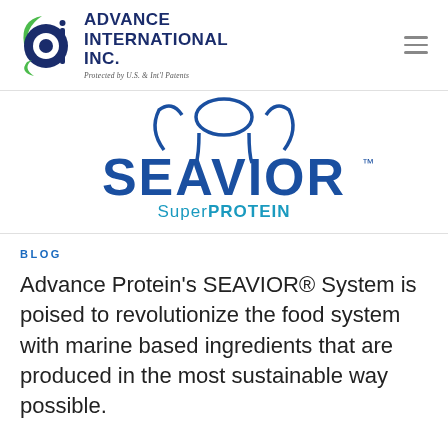[Figure (logo): Advance International Inc. company logo with circular 'ai' icon in dark navy and green, text reading ADVANCE INTERNATIONAL INC., tagline Protected by U.S. & Int'l Patents]
[Figure (logo): SEAVIOR SuperPROTEIN product logo — large blue stylized text SEAVIOR with TM mark, subtitle SuperPROTEIN in teal/blue, decorative blue figure above text]
BLOG
Advance Protein's SEAVIOR® System is poised to revolutionize the food system with marine based ingredients that are produced in the most sustainable way possible.